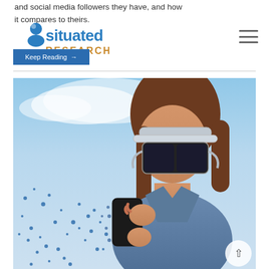and social media followers they have, and how it compares to theirs.
[Figure (logo): Situated Research logo with blue figure icon and orange 'RESEARCH' text]
Keep Reading →
[Figure (photo): Woman wearing AR/VR headset goggles and looking at a smartphone, with a particle/digital scatter effect on the left side, blue sky background]